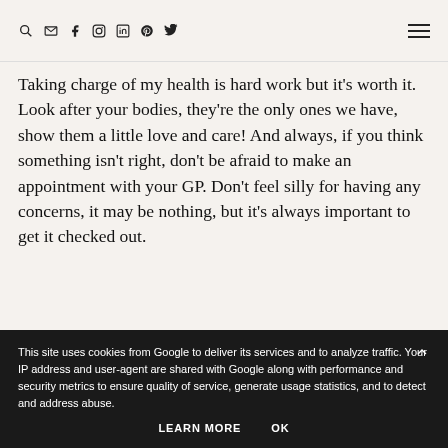Search, Email, Facebook, Instagram, LinkedIn, Pinterest, Twitter icons; hamburger menu
Taking charge of my health is hard work but it's worth it. Look after your bodies, they're the only ones we have, show them a little love and care! And always, if you think something isn't right, don't be afraid to make an appointment with your GP. Don't feel silly for having any concerns, it may be nothing, but it's always important to get it checked out.
This site uses cookies from Google to deliver its services and to analyze traffic. Your IP address and user-agent are shared with Google along with performance and security metrics to ensure quality of service, generate usage statistics, and to detect and address abuse.
LEARN MORE   OK